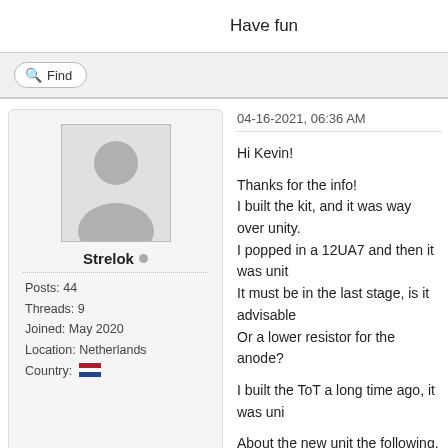Have fun
Find
[Figure (illustration): User avatar placeholder silhouette in grey box]
Strelok
Posts: 44
Threads: 9
Joined: May 2020
Location: Netherlands
Country: [Netherlands flag]
04-16-2021, 06:36 AM
Hi Kevin!

Thanks for the info!
I built the kit, and it was way over unity.
I popped in a 12UA7 and then it was unit...
It must be in the last stage, is it advisable...
Or a lower resistor for the anode?

I built the ToT a long time ago, it was unit...

About the new unit the following.
The choice was between the kit notes am...
I chose the kit because it is designed to b...
So yes, I am a PCB-pirate: I take the kit n...

Do you want compensation for this?